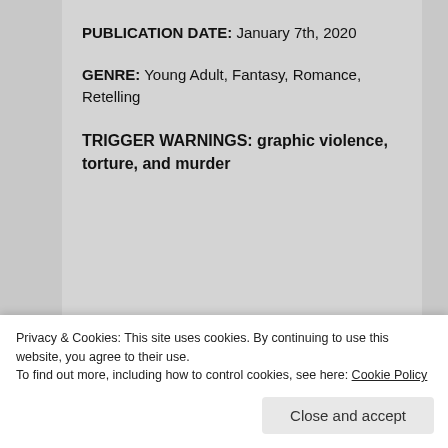PUBLICATION DATE: January 7th, 2020
GENRE: Young Adult, Fantasy, Romance, Retelling
TRIGGER WARNINGS: graphic violence, torture, and murder
[Figure (illustration): Colorful cartoon character banner strip with illustrated creatures in orange, red, pink, and green on a gradient background]
Privacy & Cookies: This site uses cookies. By continuing to use this website, you agree to their use.
To find out more, including how to control cookies, see here: Cookie Policy